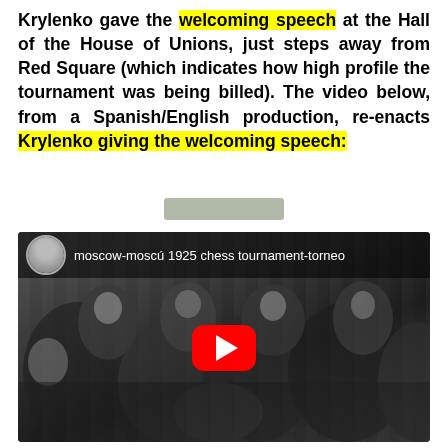Krylenko gave the welcoming speech at the Hall of the House of Unions, just steps away from Red Square (which indicates how high profile the tournament was being billed). The video below, from a Spanish/English production, re-enacts Krylenko giving the welcoming speech:
[Figure (screenshot): YouTube video thumbnail showing a black-and-white historical photo of people gathered at the 1925 Moscow chess tournament. The video title reads 'moscow-moscú 1925 chess tournament-torneo'. A red YouTube play button is visible in the center. A circular avatar of a person appears in the top-left corner of the video player.]